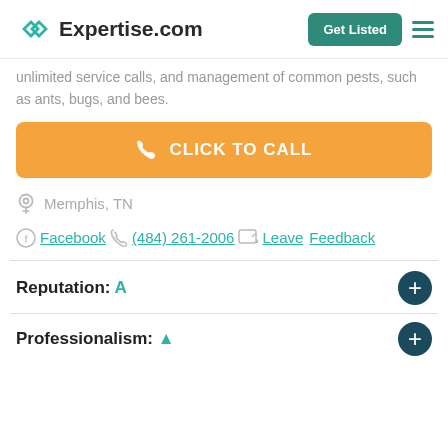Expertise.com | Get Listed
unlimited service calls, and management of common pests, such as ants, bugs, and bees.
CLICK TO CALL
Memphis, TN
Facebook | (484) 261-2006 | Leave Feedback
Reputation: A
Professionalism: A